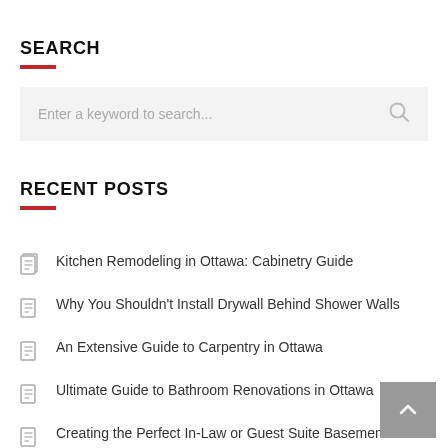SEARCH
[Figure (other): Search input box with placeholder text 'Enter a keyword to search...' and a magnifying glass icon on the right]
RECENT POSTS
Kitchen Remodeling in Ottawa: Cabinetry Guide
Why You Shouldn't Install Drywall Behind Shower Walls
An Extensive Guide to Carpentry in Ottawa
Ultimate Guide to Bathroom Renovations in Ottawa
Creating the Perfect In-Law or Guest Suite Basement